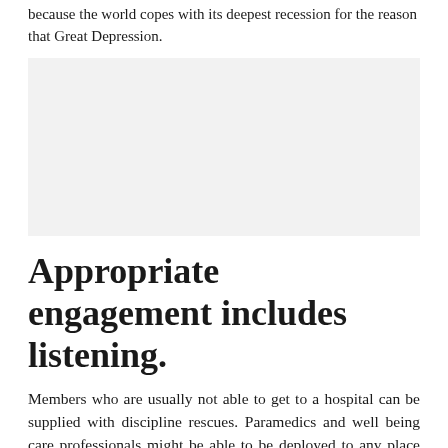because the world copes with its deepest recession for the reason that Great Depression.
[Figure (other): A blank light gray rectangular placeholder image.]
Appropriate engagement includes listening.
Members who are usually not able to get to a hospital can be supplied with discipline rescues. Paramedics and well being care professionals might be able to be deployed to any place around the globe. They are going to be capable to provide facility for evacuation and switch companies on medically ready aircraft.